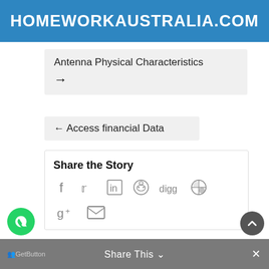HOMEWORKAUSTRALIA.COM
Antenna Physical Characteristics →
← Access financial Data
Share the Story
[Figure (other): Social share icons: Facebook, Twitter, LinkedIn, Reddit, Digg, a circle icon, Google+, Email]
GetButton   Share This ∨   ×